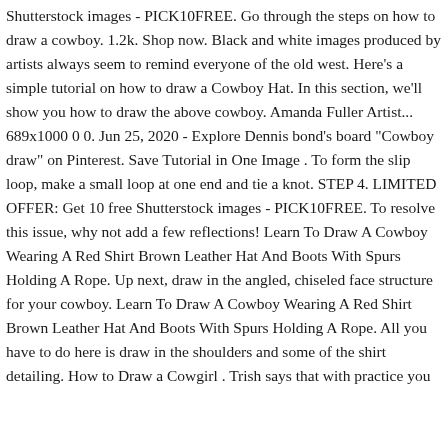Shutterstock images - PICK10FREE. Go through the steps on how to draw a cowboy. 1.2k. Shop now. Black and white images produced by artists always seem to remind everyone of the old west. Here's a simple tutorial on how to draw a Cowboy Hat. In this section, we'll show you how to draw the above cowboy. Amanda Fuller Artist... 689x1000 0 0. Jun 25, 2020 - Explore Dennis bond's board "Cowboy draw" on Pinterest. Save Tutorial in One Image . To form the slip loop, make a small loop at one end and tie a knot. STEP 4. LIMITED OFFER: Get 10 free Shutterstock images - PICK10FREE. To resolve this issue, why not add a few reflections! Learn To Draw A Cowboy Wearing A Red Shirt Brown Leather Hat And Boots With Spurs Holding A Rope. Up next, draw in the angled, chiseled face structure for your cowboy. Learn To Draw A Cowboy Wearing A Red Shirt Brown Leather Hat And Boots With Spurs Holding A Rope. All you have to do here is draw in the shoulders and some of the shirt detailing. How to Draw a Cowgirl . Trish says that with practice you